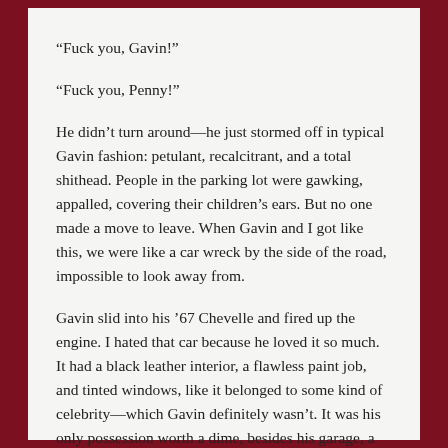“Fuck you, Gavin!”
“Fuck you, Penny!”
He didn’t turn around—he just stormed off in typical Gavin fashion: petulant, recalcitrant, and a total shithead. People in the parking lot were gawking, appalled, covering their children’s ears. But no one made a move to leave. When Gavin and I got like this, we were like a car wreck by the side of the road, impossible to look away from.
Gavin slid into his ’67 Chevelle and fired up the engine. I hated that car because he loved it so much. It had a black leather interior, a flawless paint job, and tinted windows, like it belonged to some kind of celebrity—which Gavin definitely wasn’t. It was his only possession worth a dime, besides his garage, a few guitars, and a Zippo lighter he swore River Phoenix had given to him at the Viper Room the night of his death.